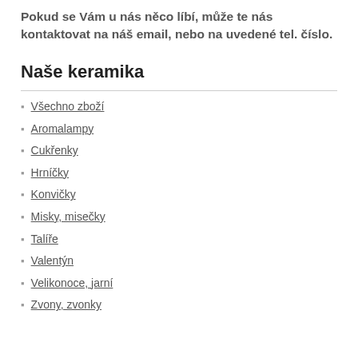Pokud se Vám u nás něco líbí, může te nás kontaktovat na náš email, nebo na uvedené tel. číslo.
Naše keramika
Všechno zboží
Aromalampy
Cukřenky
Hrníčky
Konvičky
Misky, misečky
Talíře
Valentýn
Velikonoce, jarní
Zvony, zvonky